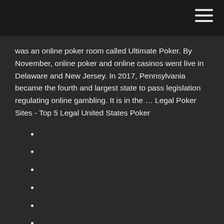was an online poker room called Ultimate Poker. By November, online poker and online casinos went live in Delaware and New Jersey. In 2017, Pennsylvania became the fourth and largest state to pass legislation regulating online gambling. It is in the ... Legal Poker Sites - Top 5 Legal United States Poker